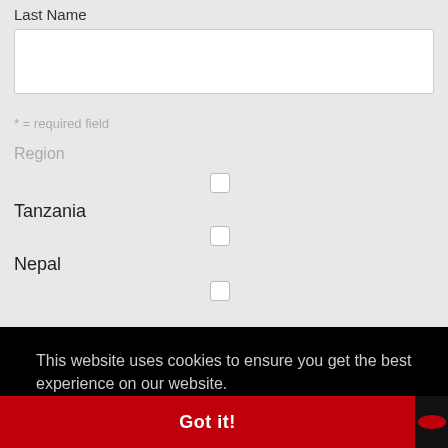Last Name
[Figure (other): Text input box for Last Name field]
* = required field
Region
Tanzania
Nepal
This website uses cookies to ensure you get the best experience on our website.
Learn more
Got it!